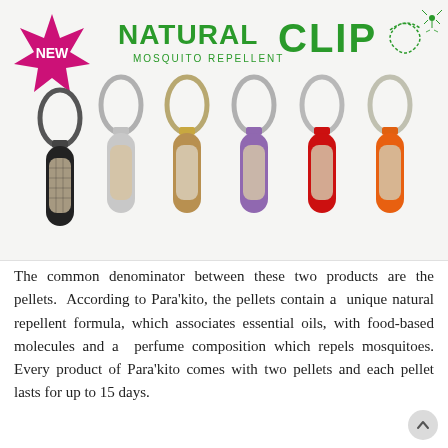[Figure (photo): Photo of six Natural Clip mosquito repellent clips in different colors (black, silver, gold/tan, purple, red, orange), each with a carabiner-style ring and a mesh pellet pouch. Header shows 'NEW' badge in pink/magenta, 'NATURAL CLIP MOSQUITO REPELLENT' in green, and a decorative mosquito illustration.]
The common denominator between these two products are the pellets. According to Para'kito, the pellets contain a unique natural repellent formula, which associates essential oils, with food-based molecules and a perfume composition which repels mosquitoes. Every product of Para'kito comes with two pellets and each pellet lasts for up to 15 days.